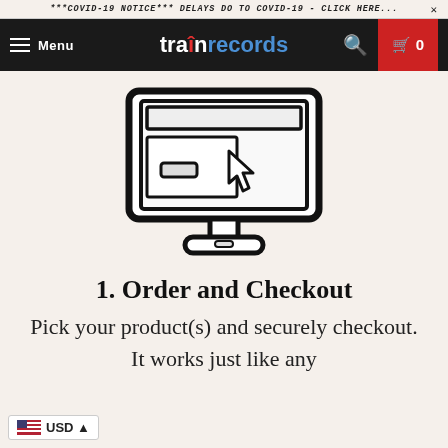***COVID-19 NOTICE*** DELAYS DO TO COVID-19 - CLICK HERE... ×
Menu | trainrecords | Search | Cart 0
[Figure (illustration): Icon of a desktop computer monitor showing a webpage with a cursor/pointer clicking on it]
1. Order and Checkout
Pick your product(s) and securely checkout. It works just like any